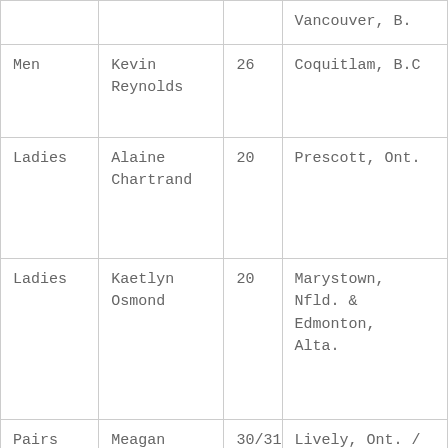|  |  |  | Vancouver, B.C. |
| Men | Kevin Reynolds | 26 | Coquitlam, B.C. |
| Ladies | Alaine Chartrand | 20 | Prescott, Ont. |
| Ladies | Kaetlyn Osmond | 20 | Marystown, Nfld. & Edmonton, Alta. |
| Pairs | Meagan Duhamel / Eric Radford | 30/31 | Lively, Ont. / Balmertown, Ont. |
|  |  |  |  |